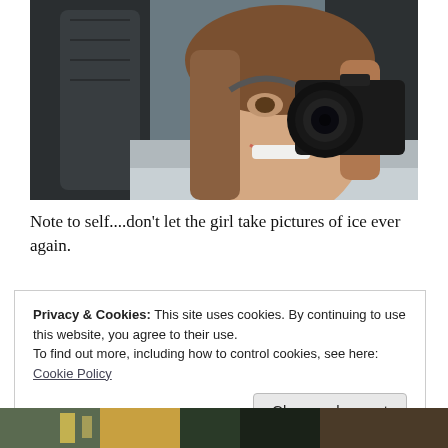[Figure (photo): A young girl smiling and holding up a DSLR camera to her face, photographed from the front inside a car. The camera has a large lens pointed at the viewer. She has long brown hair and appears cheerful.]
Note to self....don't let the girl take pictures of ice ever again.
Privacy & Cookies: This site uses cookies. By continuing to use this website, you agree to their use.
To find out more, including how to control cookies, see here: Cookie Policy
[Figure (photo): Partial view of another photograph visible at the bottom of the page, appears to show an outdoor nighttime or urban scene.]